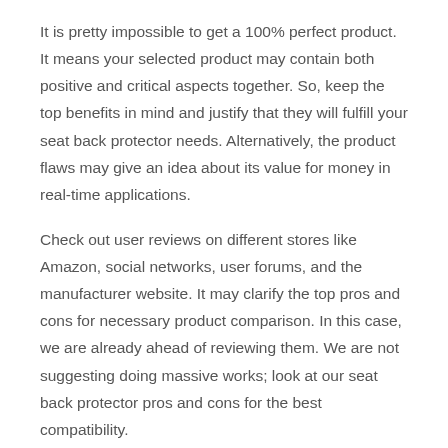It is pretty impossible to get a 100% perfect product. It means your selected product may contain both positive and critical aspects together. So, keep the top benefits in mind and justify that they will fulfill your seat back protector needs. Alternatively, the product flaws may give an idea about its value for money in real-time applications.
Check out user reviews on different stores like Amazon, social networks, user forums, and the manufacturer website. It may clarify the top pros and cons for necessary product comparison. In this case, we are already ahead of reviewing them. We are not suggesting doing massive works; look at our seat back protector pros and cons for the best compatibility.
Pricing:
Price can control the interest of a user or buyer to buy the respective product. It can determine how many features and